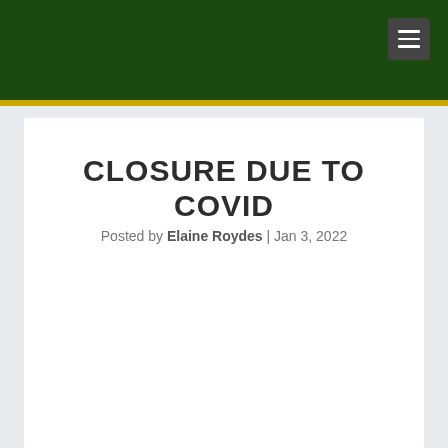[Figure (screenshot): Dark green website header navigation bar with hamburger menu icon in top right corner]
CLOSURE DUE TO COVID
Posted by Elaine Roydes | Jan 3, 2022